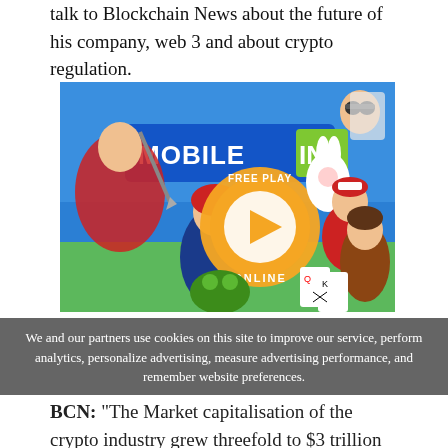talk to Blockchain News about the future of his company, web 3 and about crypto regulation.
[Figure (screenshot): Mobile INI game advertisement image showing various game characters with 'MOBILE INI' logo and a 'FREE PLAY ONLINE' orange play button badge. Characters include anime-style fighters, a bunny, Santa Claus, and other cartoon figures against a colorful game-themed background.]
We and our partners use cookies on this site to improve our service, perform analytics, personalize advertising, measure advertising performance, and remember website preferences.
BCN: “The Market capitalisation of the crypto industry grew threefold to $3 trillion in